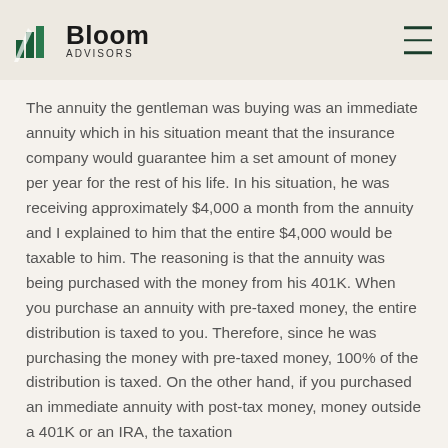Bloom Advisors
The annuity the gentleman was buying was an immediate annuity which in his situation meant that the insurance company would guarantee him a set amount of money per year for the rest of his life. In his situation, he was receiving approximately $4,000 a month from the annuity and I explained to him that the entire $4,000 would be taxable to him. The reasoning is that the annuity was being purchased with the money from his 401K. When you purchase an annuity with pre-taxed money, the entire distribution is taxed to you. Therefore, since he was purchasing the money with pre-taxed money, 100% of the distribution is taxed. On the other hand, if you purchased an immediate annuity with post-tax money, money outside a 401K or an IRA, the taxation